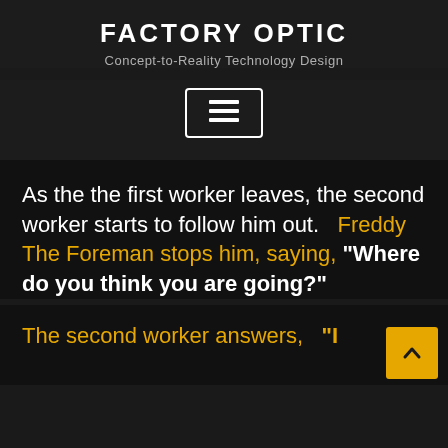FACTORY OPTIC
Concept-to-Reality Technology Design
[Figure (other): hamburger menu button with three horizontal lines inside a rounded rectangle border]
As the the first worker leaves, the second worker starts to follow him out.   Freddy The Foreman stops him, saying, “Where do you think you are going?”
The second worker answers,  “I